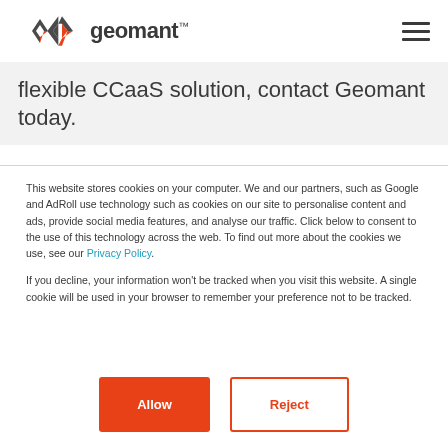geomant
flexible CCaaS solution, contact Geomant today.
This website stores cookies on your computer. We and our partners, such as Google and AdRoll use technology such as cookies on our site to personalise content and ads, provide social media features, and analyse our traffic. Click below to consent to the use of this technology across the web. To find out more about the cookies we use, see our Privacy Policy.
If you decline, your information won't be tracked when you visit this website. A single cookie will be used in your browser to remember your preference not to be tracked.
Allow   Reject